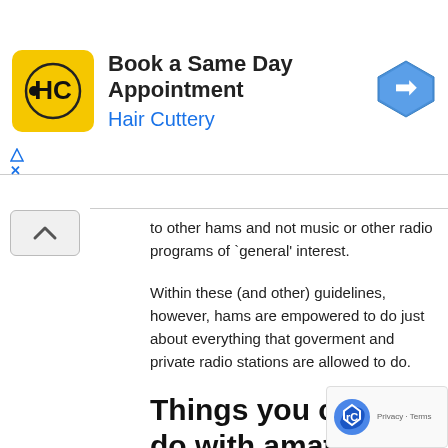[Figure (other): Hair Cuttery advertisement banner: HC logo in yellow square, text 'Book a Same Day Appointment / Hair Cuttery', blue navigation arrow icon on right, ad indicator and close button on left]
to other hams and not music or other radio programs of `general' interest.
Within these (and other) guidelines, however, hams are empowered to do just about everything that goverment and private radio stations are allowed to do.
Things you can to do with amateur radio
Talk around the world – With HF radios hams can to other hams in literally any part of the globe.
Talk around town – With small portable VHF and transceivers hams enjoy extremely reliable